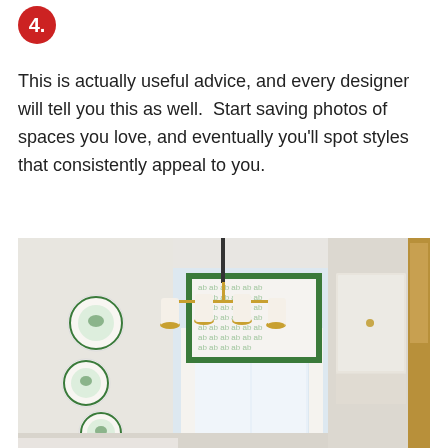[Figure (other): Red circle badge with number 4 and a period]
This is actually useful advice, and every designer will tell you this as well.  Start saving photos of spaces you love, and eventually you'll spot styles that consistently appeal to you.
[Figure (photo): Interior room photo showing a brass chandelier with white shades, green-bordered patterned roman shade on a window, decorative green and white plates on a white wall, and white cabinetry with gold hardware on the right side.]